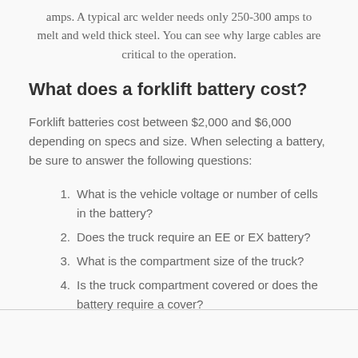amps. A typical arc welder needs only 250-300 amps to melt and weld thick steel. You can see why large cables are critical to the operation.
What does a forklift battery cost?
Forklift batteries cost between $2,000 and $6,000 depending on specs and size. When selecting a battery, be sure to answer the following questions:
1. What is the vehicle voltage or number of cells in the battery?
2. Does the truck require an EE or EX battery?
3. What is the compartment size of the truck?
4. Is the truck compartment covered or does the battery require a cover?